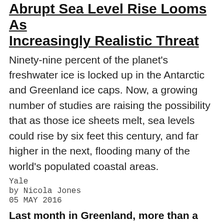Abrupt Sea Level Rise Looms As Increasingly Realistic Threat
Ninety-nine percent of the planet's freshwater ice is locked up in the Antarctic and Greenland ice caps. Now, a growing number of studies are raising the possibility that as those ice sheets melt, sea levels could rise by six feet this century, and far higher in the next, flooding many of the world's populated coastal areas.
Yale
by Nicola Jones
05 MAY 2016
Last month in Greenland, more than a tenth of the ice sheets surface was melting in the unseasonably warm spring sun, smashing 2010s record for a thaw so early in the year. In the Antarctic, warm water licking at the base